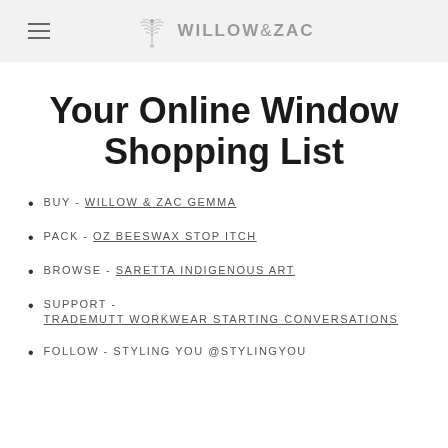WILLOW & ZAC
Your Online Window Shopping List
BUY - WILLOW & ZAC GEMMA
PACK - OZ BEESWAX STOP ITCH
BROWSE - SARETTA INDIGENOUS ART
SUPPORT - TRADEMUTT WORKWEAR STARTING CONVERSATIONS
FOLLOW - STYLING YOU @STYLINGYOU